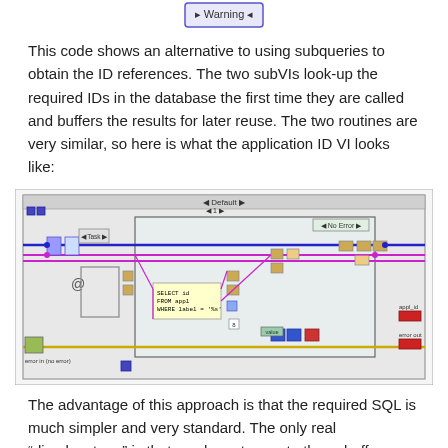[Figure (screenshot): A small UI element showing a 'Warning' button/indicator with blue border]
This code shows an alternative to using subqueries to obtain the ID references. The two subVIs look-up the required IDs in the database the first time they are called and buffers the results for later reuse. The two routines are very similar, so here is what the application ID VI looks like:
[Figure (screenshot): A LabVIEW block diagram screenshot showing a VI with pink and blue wires, a SQL query block reading 'SELECT id FROM appl WHERE label = %s', error handling nodes, and various function nodes. Labels include 'Task', 'No Error', 'appl_id', and 'error out'.]
The advantage of this approach is that the required SQL is much simpler and very standard. The only real “disadvantage” is that you have to create these buffers — which really isn’t very much of a disadvantage. I really like this technique for